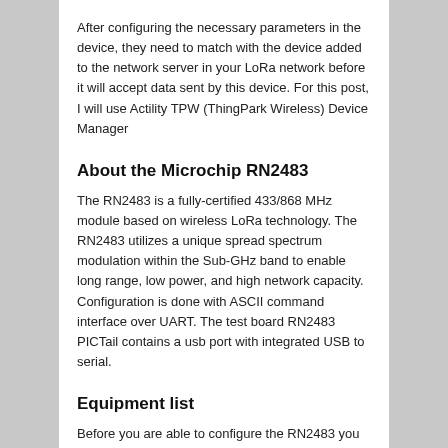After configuring the necessary parameters in the device, they need to match with the device added to the network server in your LoRa network before it will accept data sent by this device. For this post, I will use Actility TPW (ThingPark Wireless) Device Manager
About the Microchip RN2483
The RN2483 is a fully-certified 433/868 MHz module based on wireless LoRa technology. The RN2483 utilizes a unique spread spectrum modulation within the Sub-GHz band to enable long range, low power, and high network capacity. Configuration is done with ASCII command interface over UART. The test board RN2483 PICTail contains a usb port with integrated USB to serial.
Equipment list
Before you are able to configure the RN2483 you need the following: